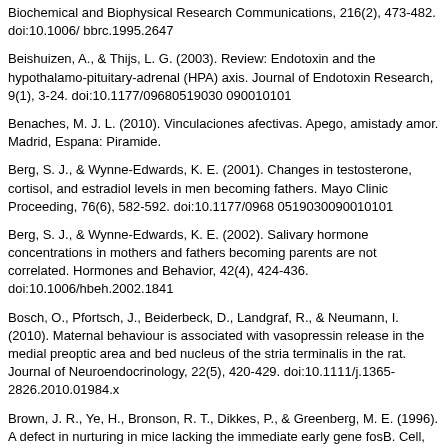Biochemical and Biophysical Research Communications, 216(2), 473-482. doi:10.1006/ bbrc.1995.2647
Beishuizen, A., & Thijs, L. G. (2003). Review: Endotoxin and the hypothalamo-pituitary-adrenal (HPA) axis. Journal of Endotoxin Research, 9(1), 3-24. doi:10.1177/09680519030 090010101
Benaches, M. J. L. (2010). Vinculaciones afectivas. Apego, amistady amor. Madrid, Espana: Piramide.
Berg, S. J., & Wynne-Edwards, K. E. (2001). Changes in testosterone, cortisol, and estradiol levels in men becoming fathers. Mayo Clinic Proceeding, 76(6), 582-592. doi:10.1177/0968 0519030090010101
Berg, S. J., & Wynne-Edwards, K. E. (2002). Salivary hormone concentrations in mothers and fathers becoming parents are not correlated. Hormones and Behavior, 42(4), 424-436. doi:10.1006/hbeh.2002.1841
Bosch, O., Pfortsch, J., Beiderbeck, D., Landgraf, R., & Neumann, I. (2010). Maternal behaviour is associated with vasopressin release in the medial preoptic area and bed nucleus of the stria terminalis in the rat. Journal of Neuroendocrinology, 22(5), 420-429. doi:10.1111/j.1365-2826.2010.01984.x
Brown, J. R., Ye, H., Bronson, R. T., Dikkes, P., & Greenberg, M. E. (1996). A defect in nurturing in mice lacking the immediate early gene fosB. Cell, 86(2), 297-309. doi:10.1016/ S0092-8674(00)80101-4
Carter, C. S. (1998). Neuroendocrine perspectives on social attachment and love. Psychoneuroendocrinology, 23(8), 779-818. doi:10.1016/S0306-